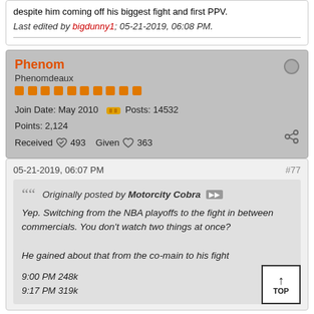despite him coming off his biggest fight and first PPV.
Last edited by bigdunny1; 05-21-2019, 06:08 PM.
Phenom
Phenomdeaux
Join Date: May 2010   Posts: 14532
Points: 2,124
Received 493   Given 363
05-21-2019, 06:07 PM
#77
Originally posted by Motorcity Cobra
Yep. Switching from the NBA playoffs to the fight in between commercials. You don't watch two things at once?

He gained about that from the co-main to his fight

9:00 PM 248k
9:17 PM 319k